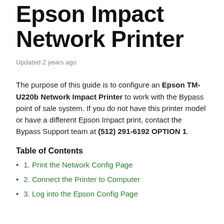Epson Impact Network Printer
Updated 2 years ago
The purpose of this guide is to configure an Epson TM-U220b Network Impact Printer to work with the Bypass point of sale system. If you do not have this printer model or have a different Epson Impact print, contact the Bypass Support team at (512) 291-6192 OPTION 1.
Table of Contents
1. Print the Network Config Page
2. Connect the Printer to Computer
3. Log into the Epson Config Page